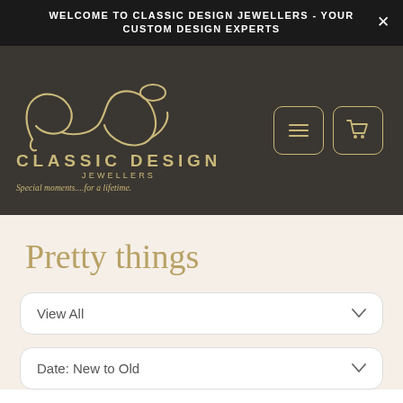WELCOME TO CLASSIC DESIGN JEWELLERS - YOUR CUSTOM DESIGN EXPERTS
[Figure (logo): Classic Design Jewellers logo — stylized cursive monogram in gold with text CLASSIC DESIGN JEWELLERS and tagline Special moments....for a lifetime., plus hamburger menu and cart icon buttons]
Pretty things
View All
Date: New to Old